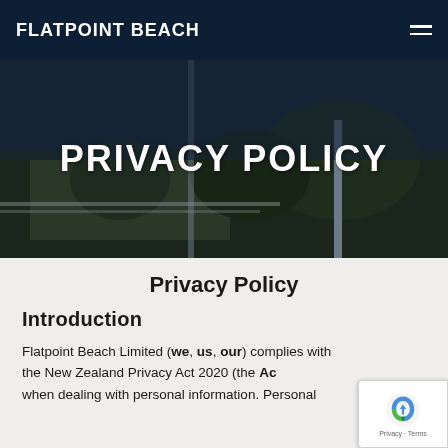FLATPOINT BEACH
PRIVACY POLICY
Privacy Policy
Introduction
Flatpoint Beach Limited (we, us, our) complies with the New Zealand Privacy Act 2020 (the Act) when dealing with personal information. Personal